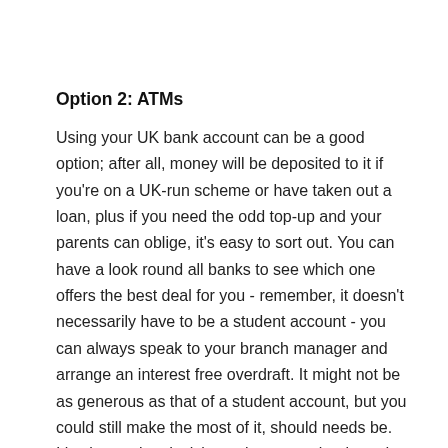Option 2: ATMs
Using your UK bank account can be a good option; after all, money will be deposited to it if you're on a UK-run scheme or have taken out a loan, plus if you need the odd top-up and your parents can oblige, it's easy to sort out. You can have a look round all banks to see which one offers the best deal for you - remember, it doesn't necessarily have to be a student account - you can always speak to your branch manager and arrange an interest free overdraft. It might not be as generous as that of a student account, but you could still make the most of it, should needs be. It's also a wise decision to leave one bank card at home, so it might be more beneficial for you